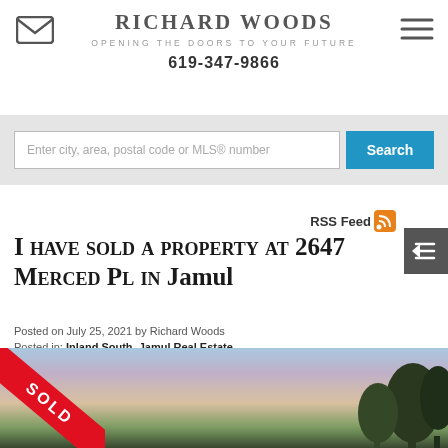RICHARD WOODS
OPENING THE DOORS TO YOUR FUTURE
619-347-9866
Enter city, area, postal code or MLS® number  Search
RSS Feed
I have sold a property at 2647 Merced Pl in Jamul
Posted on July 25, 2021 by Richard Woods
Posted in: Inland South, Jamul Real Estate
[Figure (photo): Property photo with red SOLD banner in lower left corner, showing a landscape with trees and colorful sunset sky]